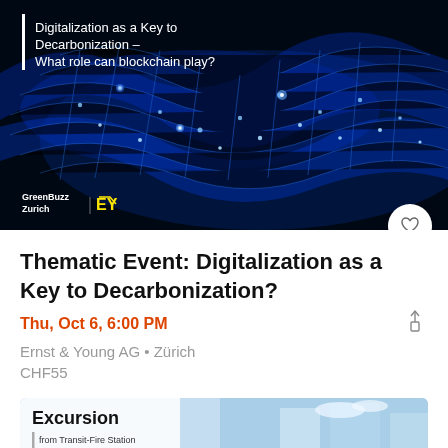[Figure (photo): Dark blue/black background with glowing blue digital network wave pattern (blockchain visualization). White text overlay reads 'Digitalization as a Key to Decarbonization – What role can blockchain play?' with a vertical white bar on the left. GreenBuzz Zurich and EY logos in bottom-left. Heart icon button in bottom-right.]
Thematic Event: Digitalization as a Key to Decarbonization?
Thu, Oct 6, 6:00 PM
Ernst & Young AG • Zürich
CHF55
[Figure (photo): Partial card showing 'Excursion' heading and a blue-sky building photograph, partially cut off at the bottom of the page.]